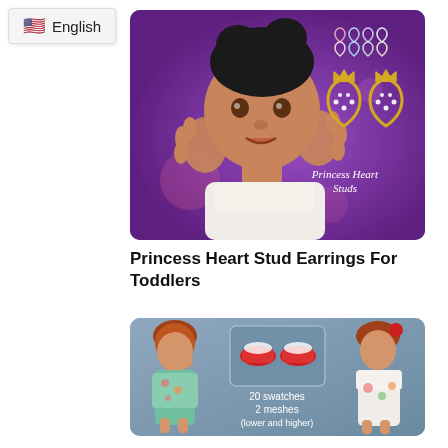🇺🇸 English
[Figure (photo): Sims 4 toddler character with dark hair buns on a purple background, with Princess Heart Studs earring designs shown on the right side]
Princess Heart Stud Earrings For Toddlers
[Figure (photo): Sims 4 toddler characters wearing red shoes, with text '20 swatches 2 meshes (lower and higher)' on a blue-grey background]